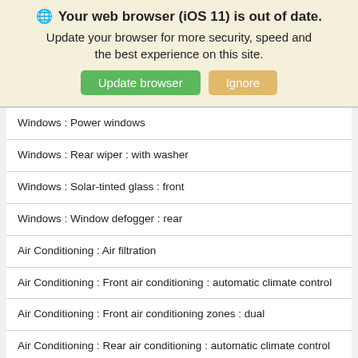[Figure (screenshot): Browser update warning banner with globe icon, bold title 'Your web browser (iOS 11) is out of date.', subtitle text, and two buttons: 'Update browser' (green) and 'Ignore' (tan/orange)]
| Windows : Power windows |
| Windows : Rear wiper : with washer |
| Windows : Solar-tinted glass : front |
| Windows : Window defogger : rear |
| Air Conditioning : Air filtration |
| Air Conditioning : Front air conditioning : automatic climate control |
| Air Conditioning : Front air conditioning zones : dual |
| Air Conditioning : Rear air conditioning : automatic climate control |